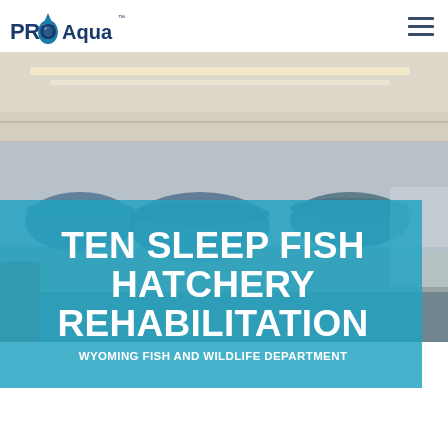PRO Aqua
[Figure (photo): Interior of a fish hatchery building showing raceway tanks and equipment, with blue tanks visible]
TEN SLEEP FISH HATCHERY REHABILITATION
WYOMING FISH AND WILDLIFE DEPARTMENT